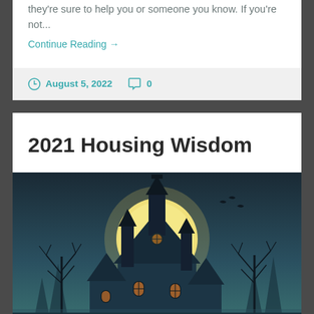they're sure to help you or someone you know. If you're not...
Continue Reading →
August 5, 2022   0
2021 Housing Wisdom
[Figure (illustration): Haunted house illustration at night with glowing moon, bare trees, and spooky castle-like building with lit windows against a dark teal sky]